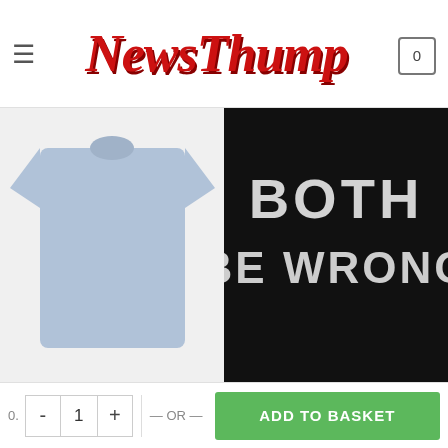NewsThump
[Figure (photo): Light blue t-shirt product image on grey background]
MEN
Britains Got Morons T-Shirt
£20.00
[Figure (photo): Black t-shirt with white bold text reading BOTH BE WRONG]
MEN
If I agreed with you then we'd BOTH be wrong – T-Shirt
£16.67
LATEST
[Figure (photo): Oh For Fox Sake T-shirt thumbnail with dark navy t-shirt overlay]
Oh For Fox Sake T-shirt
- 1 + — OR — ADD TO BASKET